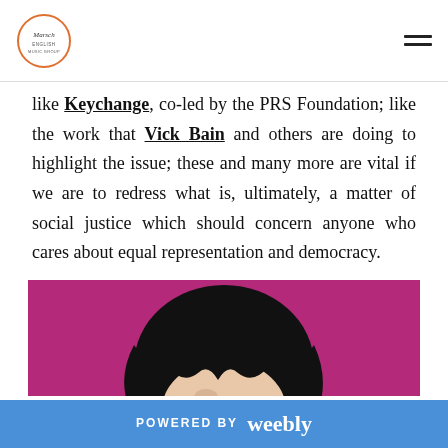[Logo] [Navigation hamburger menu]
like Keychange, co-led by the PRS Foundation; like the work that Vick Bain and others are doing to highlight the issue; these and many more are vital if we are to redress what is, ultimately, a matter of social justice which should concern anyone who cares about equal representation and democracy.
[Figure (illustration): Stylized pop-art illustration of a person with dark hair against a bright magenta/pink background, partially cropped showing mainly the head and top of the figure.]
POWERED BY weebly